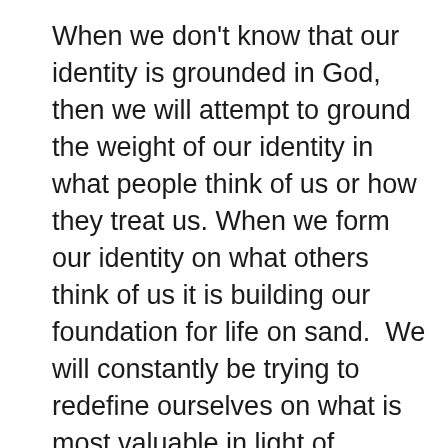When we don't know that our identity is grounded in God, then we will attempt to ground the weight of our identity in what people think of us or how they treat us. When we form our identity on what others think of us it is building our foundation for life on sand.  We will constantly be trying to redefine ourselves on what is most valuable in light of everchanging situational factors. This is exhausting!
For example: we can start to get to know a new friend, and as comfort and familiarity grow, we start to see what they think of